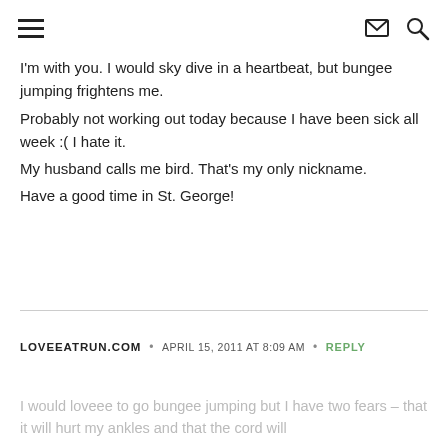[hamburger menu] [mail icon] [search icon]
I'm with you. I would sky dive in a heartbeat, but bungee jumping frightens me.
Probably not working out today because I have been sick all week :( I hate it.
My husband calls me bird. That's my only nickname.
Have a good time in St. George!
LOVEEATRUN.COM • APRIL 15, 2011 AT 8:09 AM • REPLY
I would loveee to go bungee jumping but I have two fears – that it will hurt my ankles and that the cord will